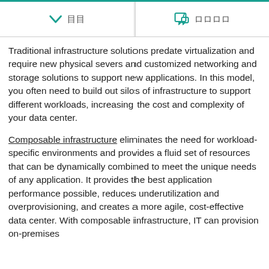目 ・ ロロロロ
Traditional infrastructure solutions predate virtualization and require new physical severs and customized networking and storage solutions to support new applications. In this model, you often need to build out silos of infrastructure to support different workloads, increasing the cost and complexity of your data center.
Composable infrastructure eliminates the need for workload-specific environments and provides a fluid set of resources that can be dynamically combined to meet the unique needs of any application. It provides the best application performance possible, reduces underutilization and overprovisioning, and creates a more agile, cost-effective data center. With composable infrastructure, IT can provision on-premises